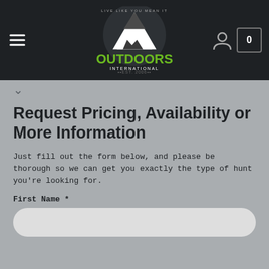[Figure (logo): Outdoors International logo with mountain silhouette and green text, tagline 'Live Like You Mean It', EST. 2006]
Request Pricing, Availability or More Information
Just fill out the form below, and please be thorough so we can get you exactly the type of hunt you're looking for.
First Name *